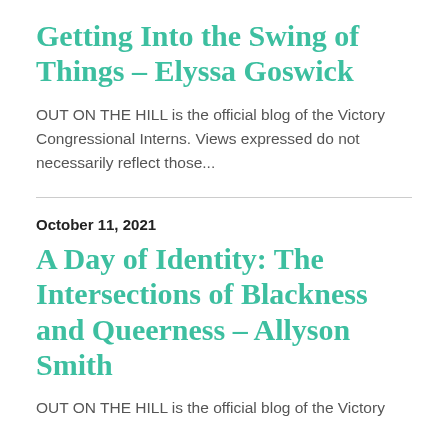Getting Into the Swing of Things – Elyssa Goswick
OUT ON THE HILL is the official blog of the Victory Congressional Interns. Views expressed do not necessarily reflect those...
October 11, 2021
A Day of Identity: The Intersections of Blackness and Queerness – Allyson Smith
OUT ON THE HILL is the official blog of the Victory